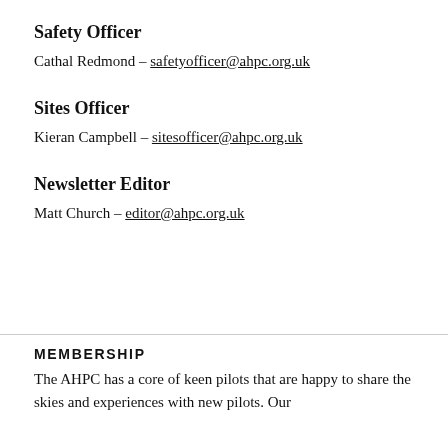Safety Officer
Cathal Redmond – safetyofficer@ahpc.org.uk
Sites Officer
Kieran Campbell – sitesofficer@ahpc.org.uk
Newsletter Editor
Matt Church – editor@ahpc.org.uk
MEMBERSHIP
The AHPC has a core of keen pilots that are happy to share the skies and experiences with new pilots. Our